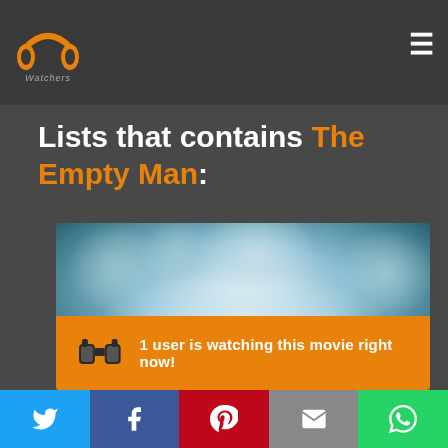[Figure (logo): PP Watchers logo — orange stylized double-P headphone icon with 'Watchers' text below]
Lists that contains The Empty Man:
[Figure (photo): Blurred abstract background with bokeh lights in blue/teal tones, fading to bright white center — movie card image for 'The Empty Man']
1 user is watching this movie right now!